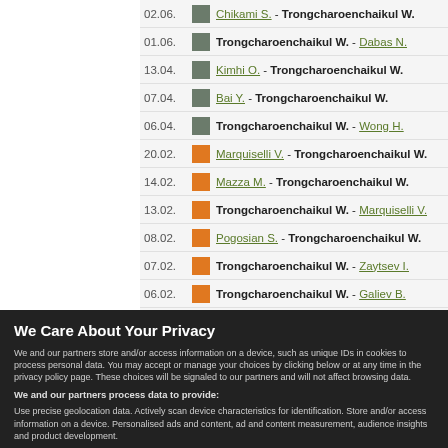| Date | Type | Match |
| --- | --- | --- |
| 02.06. | grey | Chikami S. - Trongcharoenchaikul W. |
| 01.06. | grey | Trongcharoenchaikul W. - Dabas N. |
| 13.04. | grey | Kimhi O. - Trongcharoenchaikul W. |
| 07.04. | grey | Bai Y. - Trongcharoenchaikul W. |
| 06.04. | grey | Trongcharoenchaikul W. - Wong H. |
| 20.02. | orange | Marquiselli V. - Trongcharoenchaikul W. |
| 14.02. | orange | Mazza M. - Trongcharoenchaikul W. |
| 13.02. | orange | Trongcharoenchaikul W. - Marquiselli V. |
| 08.02. | orange | Pogosian S. - Trongcharoenchaikul W. |
| 07.02. | orange | Trongcharoenchaikul W. - Zaytsev I. |
| 06.02. | orange | Trongcharoenchaikul W. - Galiev B. |
We Care About Your Privacy
We and our partners store and/or access information on a device, such as unique IDs in cookies to process personal data. You may accept or manage your choices by clicking below or at any time in the privacy policy page. These choices will be signaled to our partners and will not affect browsing data.
We and our partners process data to provide:
Use precise geolocation data. Actively scan device characteristics for identification. Store and/or access information on a device. Personalised ads and content, ad and content measurement, audience insights and product development.
List of Partners (vendors)